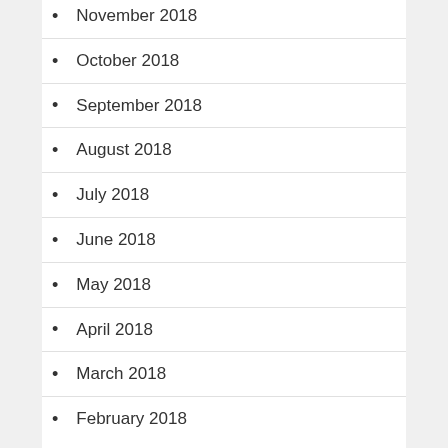November 2018
October 2018
September 2018
August 2018
July 2018
June 2018
May 2018
April 2018
March 2018
February 2018